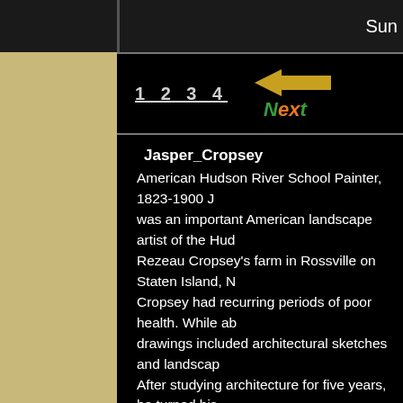Sun
[Figure (screenshot): Navigation interface with back arrow, Next button with colorful text, and page number links 1 2 3 4]
Jasper_Cropsey
American Hudson River School Painter, 1823-1900 J...was an important American landscape artist of the Hud...Rezeau Cropsey's farm in Rossville on Staten Island, N...Cropsey had recurring periods of poor health. While ab...drawings included architectural sketches and landscap...After studying architecture for five years, he turned his ...Edward Maury. He visited England, France, Switzerlan...seven years in London, sending his pictures to the Roy...his return home in 1863, he opened a studio in New Yo...Hastings-on-Hudson. Trained as an architect, he set up...drawing at the National Academy of Design and first ex...associate member and turned exclusively to landscape...exhibition entitled "Italian Compositions." Cropsey marr...1849, was elected a full member of the Academy in 18...specialized in autumnal landscape paintings of the nor...One such painting is "The Valley of the Wyoming" set i...the western state of Wyoming. He co-founded, with ten...Colors in 1866.